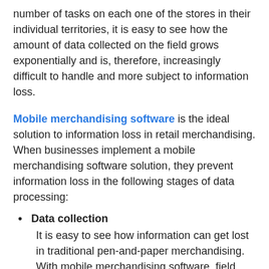number of tasks on each one of the stores in their individual territories, it is easy to see how the amount of data collected on the field grows exponentially and is, therefore, increasingly difficult to handle and more subject to information loss.
Mobile merchandising software is the ideal solution to information loss in retail merchandising. When businesses implement a mobile merchandising software solution, they prevent information loss in the following stages of data processing:
Data collection — It is easy to see how information can get lost in traditional pen-and-paper merchandising. With mobile merchandising software, field reps perform tasks such as filling out forms and taking pictures in their mobile devices, leading to less misunderstanding and mix-ups.
Data transcription — With mobile merchandising software, there is no data